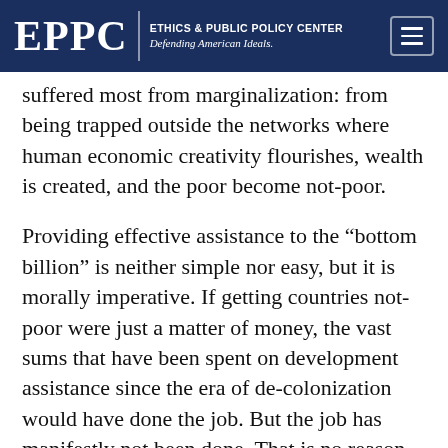EPPC | ETHICS & PUBLIC POLICY CENTER Defending American Ideals.
suffered most from marginalization: from being trapped outside the networks where human economic creativity flourishes, wealth is created, and the poor become not-poor.
Providing effective assistance to the “bottom billion” is neither simple nor easy, but it is morally imperative. If getting countries not-poor were just a matter of money, the vast sums that have been spent on development assistance since the era of de-colonization would have done the job. But the job has manifestly not been done. That is no reason to abandon development aid. The challenge is to deploy